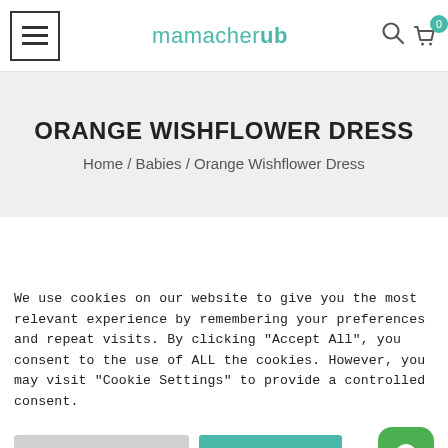mamacherub — navigation header with menu icon, logo, search and cart icons
ORANGE WISHFLOWER DRESS
Home / Babies / Orange Wishflower Dress
We use cookies on our website to give you the most relevant experience by remembering your preferences and repeat visits. By clicking "Accept All", you consent to the use of ALL the cookies. However, you may visit "Cookie Settings" to provide a controlled consent.
Cookie Settings | Accept All